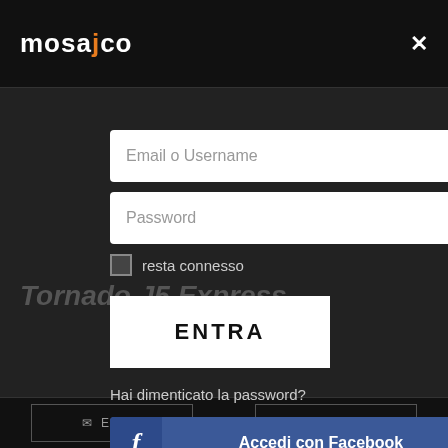[Figure (screenshot): Mosajco login modal overlay on dark background with logo, close button, email/username and password input fields, remember me checkbox, ENTRA button, forgot password link, Facebook login button, Google login button, and bottom bar with EMAIL and CALL options.]
mosajco
Email o Username
Password
resta connesso
ENTRA
Hai dimenticato la password?
Accedi con Facebook
Accedi con Google
EMAIL   CALL